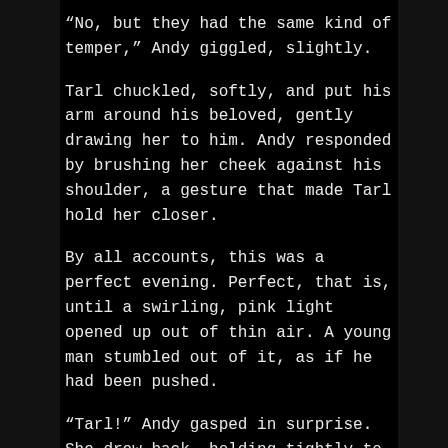“No, but they had the same kind of temper,” Andy giggled, slightly.
Tarl chuckled, softly, and put his arm around his beloved, gently drawing her to him. Andy responded by brushing her cheek against his shoulder, a gesture that made Tarl hold her closer.
By all accounts, this was a perfect evening. Perfect, that is, until a swirling, pink light opened up out of thin air. A young man stumbled out of it, as if he had been pushed.
“Tarl!” Andy gasped in surprise. She drew back, holding tightly to her fiancée’s hand.
The stranger, who was dressed in a brown, fur